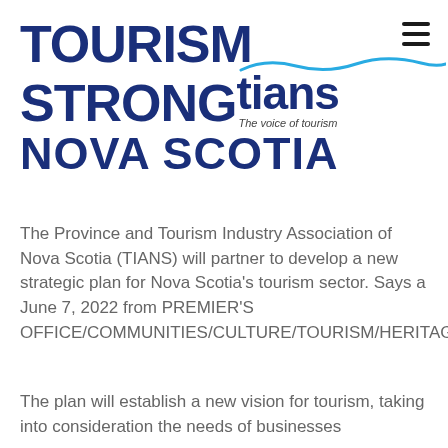[Figure (logo): Tourism STRONGtians Nova Scotia logo with wave graphic and tagline 'The voice of tourism']
The Province and Tourism Industry Association of Nova Scotia (TIANS) will partner to develop a new strategic plan for Nova Scotia's tourism sector. Says a June 7, 2022 from PREMIER'S OFFICE/COMMUNITIES/CULTURE/TOURISM/HERITAGE–
The plan will establish a new vision for tourism, taking into consideration the needs of businesses